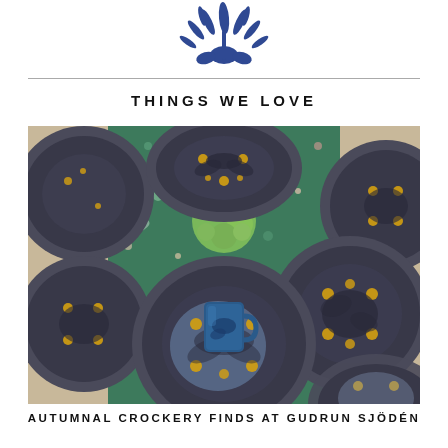[Figure (illustration): Blue decorative botanical/leaf logo illustration centered at top of page]
THINGS WE LOVE
[Figure (photo): Overhead view of patterned ceramic plates and dishes with dark navy blue botanical motifs and yellow/orange dot accents arranged on a green floral tablecloth runner, with green hydrangea flowers and a blue mug]
AUTUMNAL CROCKERY FINDS AT GUDRUN SJÖDÉN